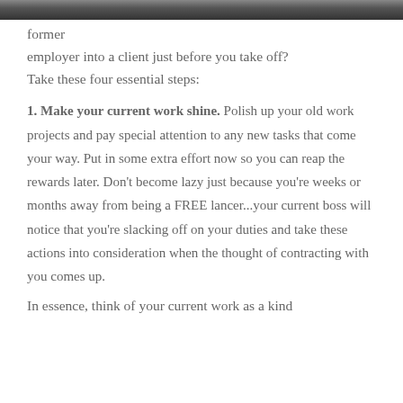[Figure (photo): Partial photo strip at top of page showing people]
former employer into a client just before you take off? Take these four essential steps:
1. Make your current work shine. Polish up your old work projects and pay special attention to any new tasks that come your way. Put in some extra effort now so you can reap the rewards later. Don't become lazy just because you're weeks or months away from being a FREElancer...your current boss will notice that you're slacking off on your duties and take these actions into consideration when the thought of contracting with you comes up.
In essence, think of your current work as a kind